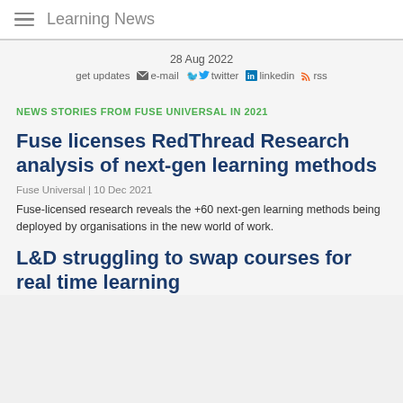Learning News
28 Aug 2022
get updates  e-mail  twitter  linkedin  rss
NEWS STORIES FROM FUSE UNIVERSAL IN 2021
Fuse licenses RedThread Research analysis of next-gen learning methods
Fuse Universal | 10 Dec 2021
Fuse-licensed research reveals the +60 next-gen learning methods being deployed by organisations in the new world of work.
L&D struggling to swap courses for real time learning